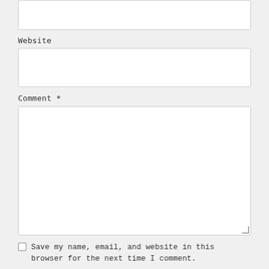[Figure (screenshot): Partial text input field at the top of the page (top portion of a form input box, cut off)]
Website
[Figure (screenshot): Website text input field, empty, white background with light gray border]
Comment *
[Figure (screenshot): Comment textarea, empty, white background with light gray border and resize handle at bottom-right]
Save my name, email, and website in this browser for the next time I comment.